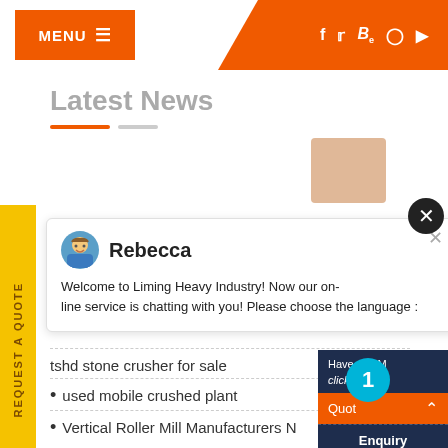MENU
Latest News
Rebecca
Welcome to Liming Heavy Industry! Now our on-line service is chatting with you! Please choose the language :
tshd stone crusher for sale
used mobile crushed plant
Vertical Roller Mill Manufacturers N